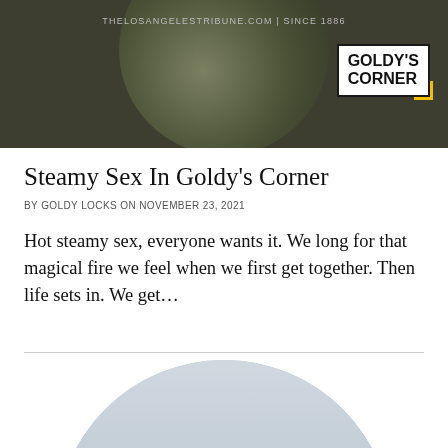[Figure (photo): Top banner area with circular photo of person and website URL text 'THELOSANGELESTRIBUNE.COM | SINCE 1886' on dark background]
THELOSANGELESTRIBUNE.COM | SINCE 1886
[Figure (logo): Goldy's Corner badge/logo with black border and yellow corner bracket]
Steamy Sex In Goldy’s Corner
BY GOLDY LOCKS ON NOVEMBER 23, 2021
Hot steamy sex, everyone wants it. We long for that magical fire we feel when we first get together. Then life sets in. We get…
[Figure (photo): Circular photo of a middle-aged couple smiling outdoors, man with gray hair and beard on left, blonde woman on right, with trees and sky in background]